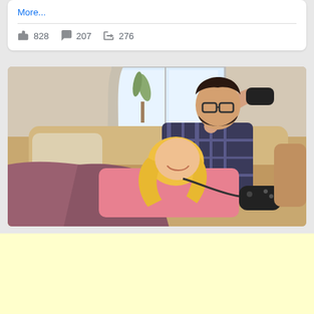More...
828  207  276
[Figure (photo): A couple sitting on a couch playing video games. A man with glasses and beard sits behind, holding a game controller up. A blonde woman lies in front of him smiling, holding a game controller.]
[Figure (other): Yellow/cream colored advertisement banner area at the bottom of the page.]